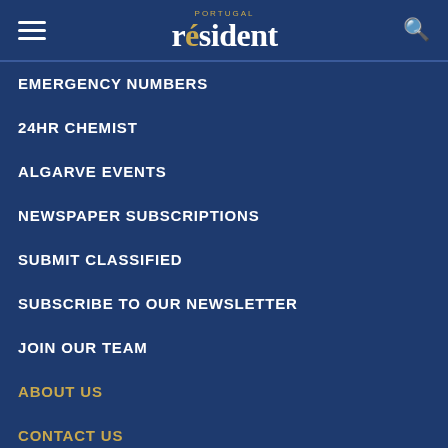Portugal Resident
EMERGENCY NUMBERS
24HR CHEMIST
ALGARVE EVENTS
NEWSPAPER SUBSCRIPTIONS
SUBMIT CLASSIFIED
SUBSCRIBE TO OUR NEWSLETTER
JOIN OUR TEAM
ABOUT US
CONTACT US